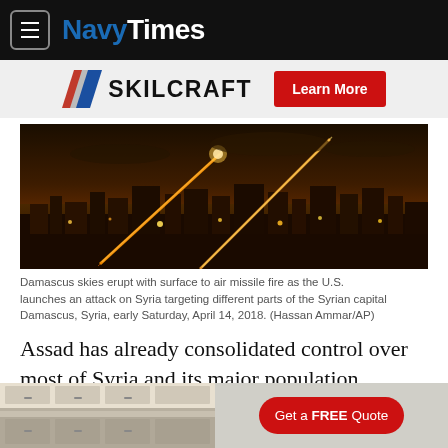NavyTimes
[Figure (logo): SKILCRAFT logo with red/blue chevron stripes and a red 'Learn More' button]
[Figure (photo): Damascus skies erupting with surface to air missile fire at night, city lights visible below, orange streaks in the sky]
Damascus skies erupt with surface to air missile fire as the U.S. launches an attack on Syria targeting different parts of the Syrian capital Damascus, Syria, early Saturday, April 14, 2018. (Hassan Ammar/AP)
Assad has already consolidated control over most of Syria and its major population centers. His allies have questioned the rationale of a victor needing to resort to chemical weapons that bring
[Figure (photo): Bottom advertisement showing a kitchen interior with a 'Get a FREE Quote' red pill button]